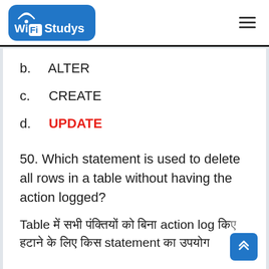Wi Fi Studys
b.  ALTER
c.  CREATE
d.  UPDATE
50. Which statement is used to delete all rows in a table without having the action logged?
Table में सभी पंक्तियों को बिना action log किए हटाने के लिए किस statement का उपयोग